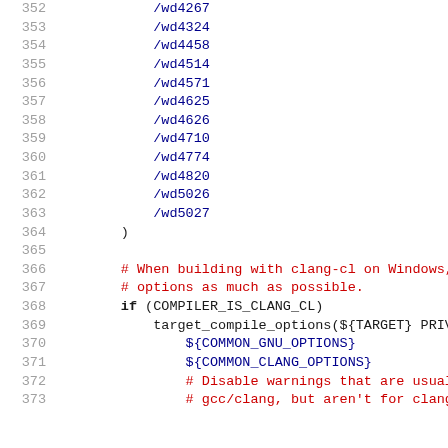Code listing lines 352-373 showing CMake build configuration with /wd warning suppressions and clang-cl compiler detection
352    /wd4267
353    /wd4324
354    /wd4458
355    /wd4514
356    /wd4571
357    /wd4625
358    /wd4626
359    /wd4710
360    /wd4774
361    /wd4820
362    /wd5026
363    /wd5027
364    )
365
366    # When building with clang-cl on Windows, t
367    # options as much as possible.
368    if (COMPILER_IS_CLANG_CL)
369        target_compile_options(${TARGET} PRIVATE
370            ${COMMON_GNU_OPTIONS}
371            ${COMMON_CLANG_OPTIONS}
372            # Disable warnings that are usually disa
373            # gcc/clang, but aren't for clang-cl